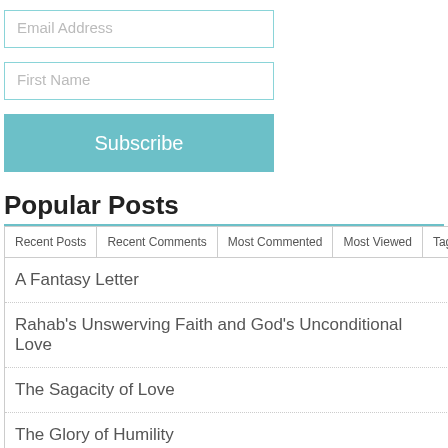Email Address
First Name
Subscribe
Popular Posts
Recent Posts
Recent Comments
Most Commented
Most Viewed
Tags
A Fantasy Letter
Rahab's Unswerving Faith and God's Unconditional Love
The Sagacity of Love
The Glory of Humility